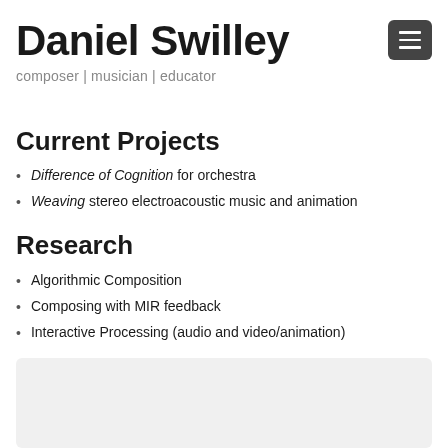Daniel Swilley
composer | musician | educator
[Figure (other): Hamburger menu button icon (three horizontal white lines on dark gray rounded rectangle background)]
Current Projects
Difference of Cognition for orchestra
Weaving stereo electroacoustic music and animation
Research
Algorithmic Composition
Composing with MIR feedback
Interactive Processing (audio and video/animation)
[Figure (other): Gray placeholder box at bottom of page]